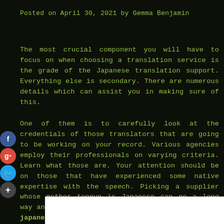Posted on April 30, 2021 by Gemma Benjamin
The most crucial component you will have to focus on when choosing a translation service is the grade of the Japanese translation support. Everything else is secondary. There are numerous details which can assist you in making sure of this.
One of them is to carefully look at the credentials of those translators that are going to be working on your record. Various agencies employ their professionals on varying criteria. Learn what those are. Your attention should be on those that have experienced some native expertise with the speech. Picking a supplier whose mother tongue is Japanese can go a long way and you can understand the the challenges of japanese translation services.
[Figure (other): White box/image placeholder at the bottom of the page]